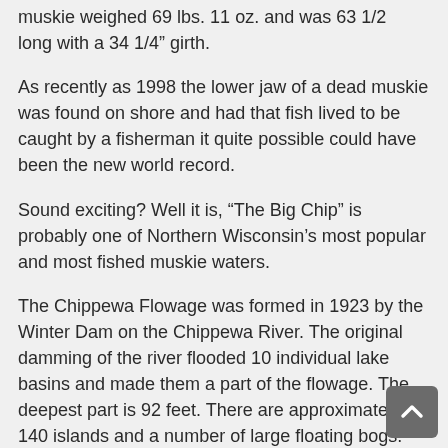muskie weighed 69 lbs. 11 oz. and was 63 1/2 long with a 34 1/4" girth.
As recently as 1998 the lower jaw of a dead muskie was found on shore and had that fish lived to be caught by a fisherman it quite possible could have been the new world record.
Sound exciting? Well it is, “The Big Chip” is probably one of Northern Wisconsin’s most popular and most fished muskie waters.
The Chippewa Flowage was formed in 1923 by the Winter Dam on the Chippewa River. The original damming of the river flooded 10 individual lake basins and made them a part of the flowage. The deepest part is 92 feet. There are approximately 140 islands and a number of large floating bogs. The flowage is divided into two parts; the east and the west. Highway CC basically divides the two parts.